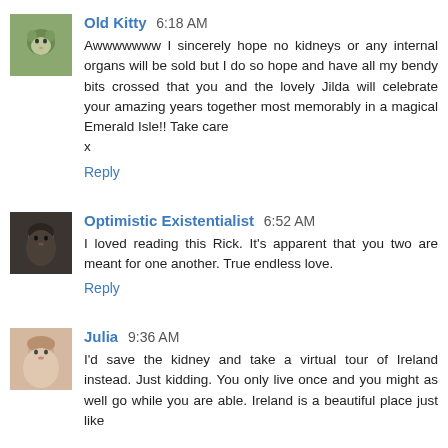Old Kitty 6:18 AM
Awwwwwww I sincerely hope no kidneys or any internal organs will be sold but I do so hope and have all my bendy bits crossed that you and the lovely Jilda will celebrate your amazing years together most memorably in a magical Emerald Isle!! Take care
x
Reply
Optimistic Existentialist 6:52 AM
I loved reading this Rick. It's apparent that you two are meant for one another. True endless love.
Reply
Julia 9:36 AM
I'd save the kidney and take a virtual tour of Ireland instead. Just kidding. You only live once and you might as well go while you are able. Ireland is a beautiful place just like